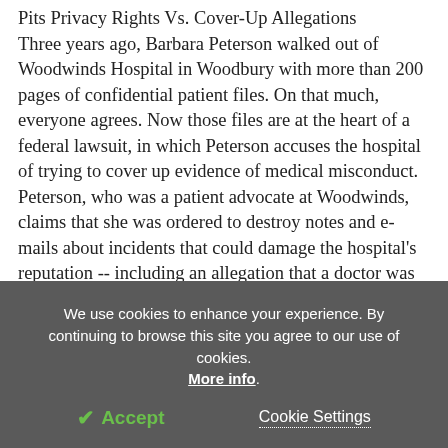Pits Privacy Rights Vs. Cover-Up Allegations
Three years ago, Barbara Peterson walked out of Woodwinds Hospital in Woodbury with more than 200 pages of confidential patient files. On that much, everyone agrees. Now those files are at the heart of a federal lawsuit, in which Peterson accuses the hospital of trying to cover up evidence of medical misconduct. Peterson, who was a patient advocate at Woodwinds, claims that she was ordered to destroy notes and e-mails about incidents that could damage the hospital's reputation -- including an allegation that a doctor was drunk while delivering a baby. She says she took the
We use cookies to enhance your experience. By continuing to browse this site you agree to our use of cookies. More info.
✓ Accept
Cookie Settings